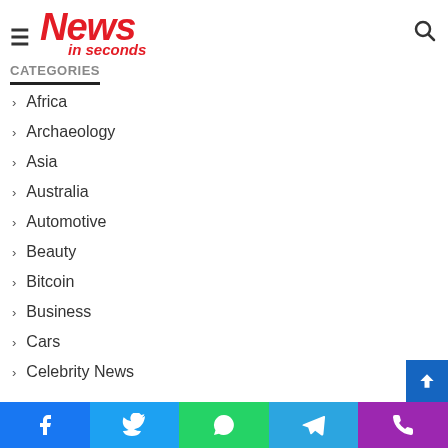News in seconds — site header with hamburger menu and search icon
CATEGORIES
Africa
Archaeology
Asia
Australia
Automotive
Beauty
Bitcoin
Business
Cars
Celebrity News